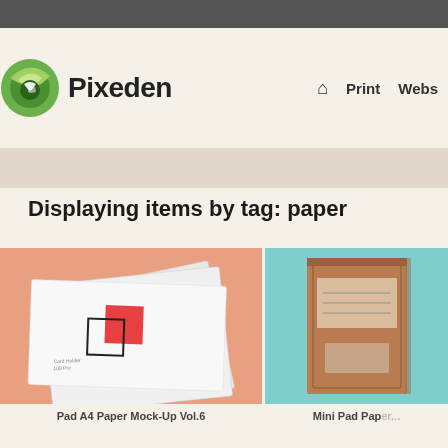Pixeden — Print  Webs
Displaying items by tag: paper
[Figure (photo): Stack of A4 paper sheets mockup on a salmon/peach background with geometric brand design elements]
Pad A4 Paper Mock-Up Vol.6
[Figure (photo): Mini pad paper mockup on a teal/mint background with kraft paper cover]
Mini Pad Paper...